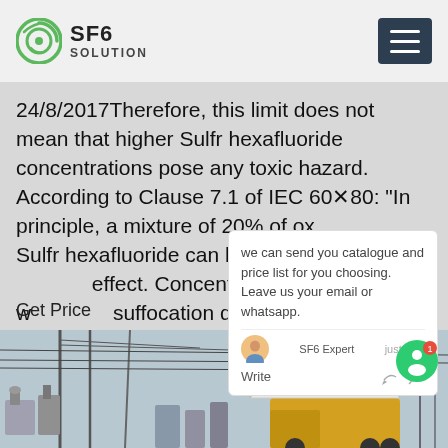SF6 SOLUTION
24/8/2017Therefore, this limit does not mean that higher Sulfr hexafluoride concentrations pose any toxic hazard. According to Clause 7.1 of IEC 60480: "In principle, a mixture of 20% of oxygen and Sulfr hexafluoride can be inhaled without harmful effect. Concentrations above 20% will cause suffocation due to lack of oxygen.
Get Price
[Figure (screenshot): Chat popup overlay showing message: we can send you catalogue and price list for you choosing. Leave us your email or whatsapp. SF6 Expert just now. Write.]
[Figure (photo): Industrial electrical substation with power lines, transformers, and a yellow service truck with white tent canopy, taken outdoors in winter/overcast conditions.]